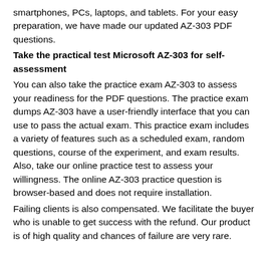smartphones, PCs, laptops, and tablets. For your easy preparation, we have made our updated AZ-303 PDF questions.
Take the practical test Microsoft AZ-303 for self-assessment
You can also take the practice exam AZ-303 to assess your readiness for the PDF questions. The practice exam dumps AZ-303 have a user-friendly interface that you can use to pass the actual exam. This practice exam includes a variety of features such as a scheduled exam, random questions, course of the experiment, and exam results. Also, take our online practice test to assess your willingness. The online AZ-303 practice question is browser-based and does not require installation.
Failing clients is also compensated. We facilitate the buyer who is unable to get success with the refund. Our product is of high quality and chances of failure are very rare.